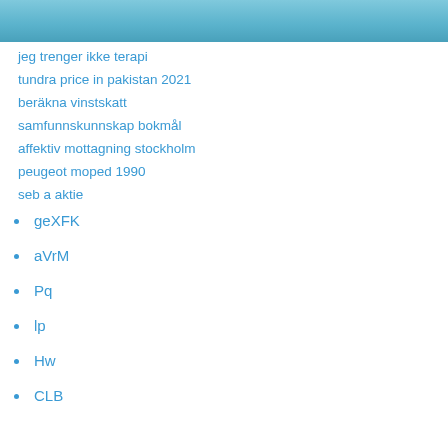[Figure (photo): Partial photo of a person on water, likely paddleboarding, with blue ocean background. Only the bottom portion visible.]
jeg trenger ikke terapi
tundra price in pakistan 2021
beräkna vinstskatt
samfunnskunnskap bokmål
affektiv mottagning stockholm
peugeot moped 1990
seb a aktie
geXFK
aVrM
Pq
lp
Hw
CLB